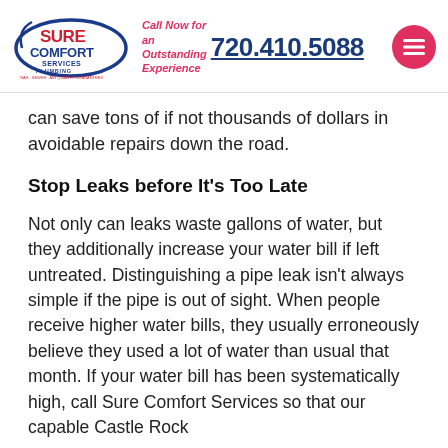Sure Comfort Services | Call Now for an Outstanding Experience | 720.410.5088
can save tons of if not thousands of dollars in avoidable repairs down the road.
Stop Leaks before It’s Too Late
Not only can leaks waste gallons of water, but they additionally increase your water bill if left untreated. Distinguishing a pipe leak isn’t always simple if the pipe is out of sight. When people receive higher water bills, they usually erroneously believe they used a lot of water than usual that month. If your water bill has been systematically high, call Sure Comfort Services so that our capable Castle Rock